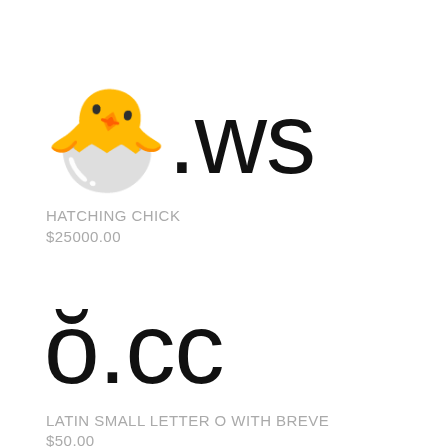🐣.ws
HATCHING CHICK
$25000.00
ŏ.cc
LATIN SMALL LETTER O WITH BREVE
$50.00